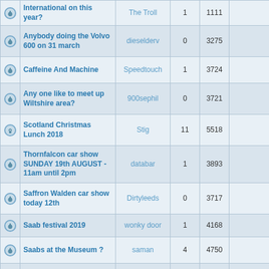|  | Topic | Author | Replies | Views | Last Post |
| --- | --- | --- | --- | --- | --- |
| [icon] | International on this year? | The Troll | 1 | 1111 | The Troll |
| [icon] | Anybody doing the Volvo 600 on 31 march | dieselderv | 0 | 3275 | Thu Jan 17, 2019
diselderv |
| [icon] | Caffeine And Machine | Speedtouch | 1 | 3724 | Wed Nov 28, 2018
ashley750 |
| [icon] | Any one like to meet up Wiltshire area? | 900sephil | 0 | 3721 | Tue Oct 16, 2018
900sephil |
| [lock] | Scotland Christmas Lunch 2018 | Stig | 11 | 5518 | Sun Oct 14, 2018
Stig |
| [icon] | Thornfalcon car show SUNDAY 19th AUGUST - 11am until 2pm | databar | 1 | 3893 | Wed Aug 15, 2018
sgould |
| [icon] | Saffron Walden car show today 12th | Dirtyleeds | 0 | 3717 | Sun Aug 12, 2018
Dirtyleeds |
| [icon] | Saab festival 2019 | wonky door | 1 | 4168 | Sun Jul 01, 2018
wonky door |
| [icon] | Saabs at the Museum ? | saman | 4 | 4750 | Mon Jun 25, 2018
Redsaabs |
| [icon] | Monthly meeting Torbay | rolcol | 4 | 4748 | Fri May 11, 2018
sgould |